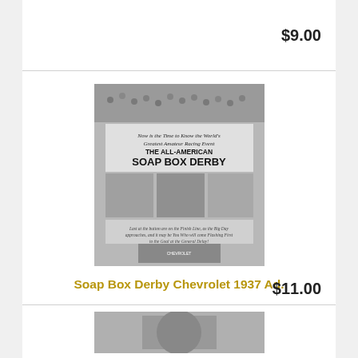$9.00
[Figure (photo): Black and white vintage advertisement for 'The All-American Soap Box Derby' featuring crowds, a racer, and Chevrolet branding from 1937]
Soap Box Derby Chevrolet 1937 Ad.
$11.00
[Figure (photo): Partial view of another vintage item photograph at the bottom of the page]